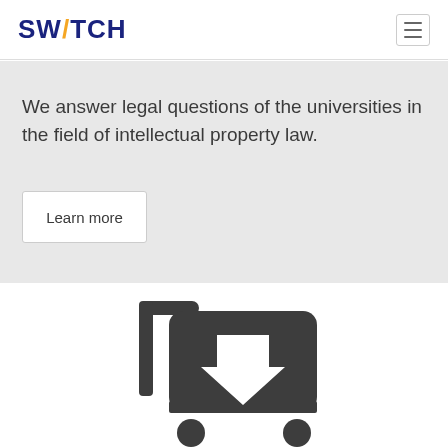SWITCH
We answer legal questions of the universities in the field of intellectual property law.
Learn more
[Figure (illustration): Shopping cart icon with a downward arrow, rendered in dark gray]